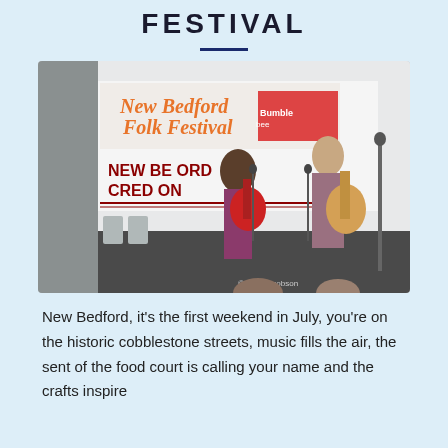FESTIVAL
[Figure (photo): Two musicians performing on stage at the New Bedford Folk Festival under a white tent. A woman plays a red electric guitar and a man plays an acoustic guitar, both singing into microphones. A banner behind them reads 'New Bedford Folk Festival' and 'New Bedford Credit Union'.]
New Bedford, it's the first weekend in July, you're on the historic cobblestone streets, music fills the air, the sent of the food court is calling your name and the crafts inspire